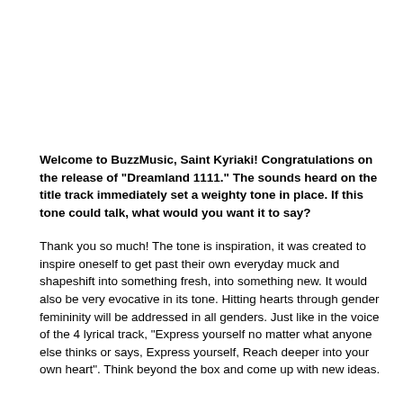Welcome to BuzzMusic, Saint Kyriaki! Congratulations on the release of "Dreamland 1111." The sounds heard on the title track immediately set a weighty tone in place. If this tone could talk, what would you want it to say?
Thank you so much! The tone is inspiration, it was created to inspire oneself to get past their own everyday muck and shapeshift into something fresh, into something new. It would also be very evocative in its tone. Hitting hearts through gender femininity will be addressed in all genders. Just like in the voice of the 4 lyrical track, "Express yourself no matter what anyone else thinks or says, Express yourself, Reach deeper into your own heart". Think beyond the box and come up with new ideas.